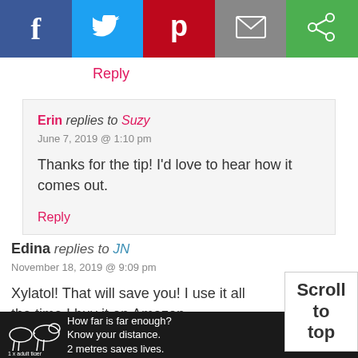[Figure (infographic): Social sharing bar with Facebook (blue), Twitter (light blue), Pinterest (red), Email (grey), and Share (green) icon buttons]
Reply
Erin replies to Suzy
June 7, 2019 @ 1:10 pm
Thanks for the tip! I’d love to hear how it comes out.
Reply
Edina replies to JN
November 18, 2019 @ 9:09 pm
Xylatol! That will save you! I use it all the time I buy it on Amazon.
Reply
[Figure (infographic): Advertisement banner: black background with tiger illustration, text 'How far is far enough? Know your distance. 2 metres saves lives. 1 x adult tiger']